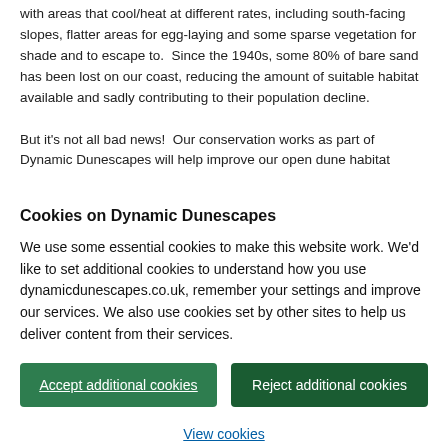with areas that cool/heat at different rates, including south-facing slopes, flatter areas for egg-laying and some sparse vegetation for shade and to escape to.  Since the 1940s, some 80% of bare sand has been lost on our coast, reducing the amount of suitable habitat available and sadly contributing to their population decline.
But it's not all bad news!  Our conservation works as part of Dynamic Dunescapes will help improve our open dune habitat
Cookies on Dynamic Dunescapes
We use some essential cookies to make this website work. We'd like to set additional cookies to understand how you use dynamicdunescapes.co.uk, remember your settings and improve our services. We also use cookies set by other sites to help us deliver content from their services.